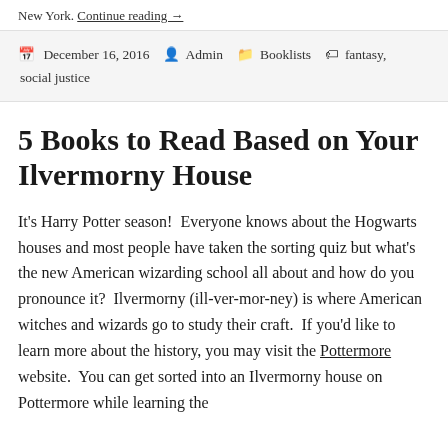New York. Continue reading →
December 16, 2016  Admin  Booklists  fantasy, social justice
5 Books to Read Based on Your Ilvermorny House
It's Harry Potter season!  Everyone knows about the Hogwarts houses and most people have taken the sorting quiz but what's the new American wizarding school all about and how do you pronounce it?  Ilvermorny (ill-ver-mor-ney) is where American witches and wizards go to study their craft.  If you'd like to learn more about the history, you may visit the Pottermore website.  You can get sorted into an Ilvermorny house on Pottermore while learning the